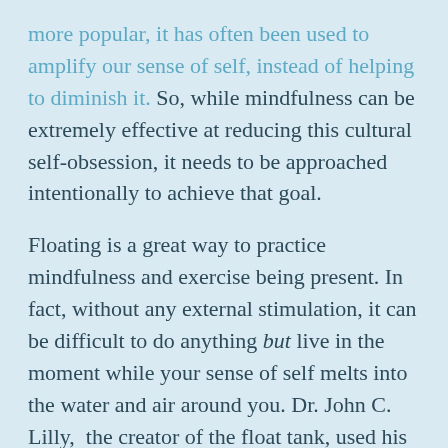more popular, it has often been used to amplify our sense of self, instead of helping to diminish it. So, while mindfulness can be extremely effective at reducing this cultural self-obsession, it needs to be approached intentionally to achieve that goal.
Floating is a great way to practice mindfulness and exercise being present. In fact, without any external stimulation, it can be difficult to do anything but live in the moment while your sense of self melts into the water and air around you. Dr. John C. Lilly,  the creator of the float tank, used his invention to help develop his own radical personal improvement techniques.
So this Valentine's Day, do yourself – and your loved ones – a favor. Treat yourself, not just to a pleasant and relaxing experience, but form that